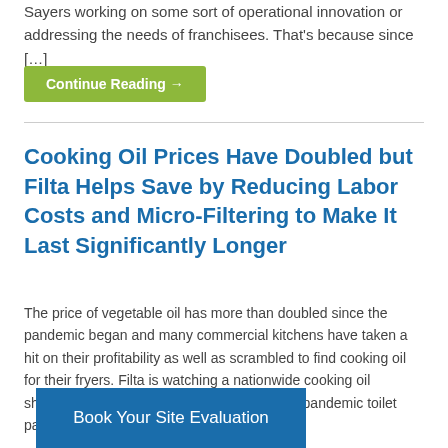Sayers working on some sort of operational innovation or addressing the needs of franchisees. That's because since […]
Continue Reading →
Cooking Oil Prices Have Doubled but Filta Helps Save by Reducing Labor Costs and Micro-Filtering to Make It Last Significantly Longer
The price of vegetable oil has more than doubled since the pandemic began and many commercial kitchens have taken a hit on their profitability as well as scrambled to find cooking oil for their fryers. Filta is watching a nationwide cooking oil shortage, somewhat reminiscent of the early pandemic toilet paper stockpiling, and many o
Book Your Site Evaluation